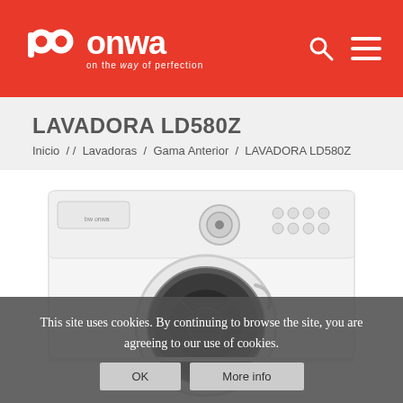[Figure (logo): ONWA brand logo with stylized 'bw onwa' text on red background, tagline 'on the way of perfection']
LAVADORA LD580Z
Inicio / / Lavadoras / Gama Anterior / LAVADORA LD580Z
[Figure (photo): Front-loading washing machine (ONWA brand, model LD580Z) in white, showing control panel and circular door with dark drum interior]
This site uses cookies. By continuing to browse the site, you are agreeing to our use of cookies.